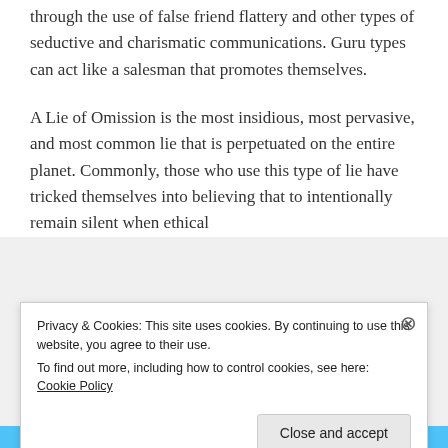through the use of false friend flattery and other types of seductive and charismatic communications. Guru types can act like a salesman that promotes themselves.
A Lie of Omission is the most insidious, most pervasive, and most common lie that is perpetuated on the entire planet. Commonly, those who use this type of lie have tricked themselves into believing that to intentionally remain silent when ethical
Privacy & Cookies: This site uses cookies. By continuing to use this website, you agree to their use.
To find out more, including how to control cookies, see here: Cookie Policy